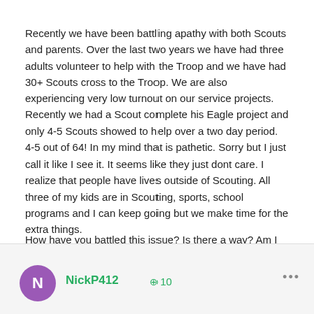Recently we have been battling apathy with both Scouts and parents. Over the last two years we have had three adults volunteer to help with the Troop and we have had 30+ Scouts cross to the Troop. We are also experiencing very low turnout on our service projects. Recently we had a Scout complete his Eagle project and only 4-5 Scouts showed to help over a two day period. 4-5 out of 64! In my mind that is pathetic. Sorry but I just call it like I see it. It seems like they just dont care. I realize that people have lives outside of Scouting. All three of my kids are in Scouting, sports, school programs and I can keep going but we make time for the extra things.
How have you battled this issue? Is there a way? Am I overreacting?
NickP412  ⊕10